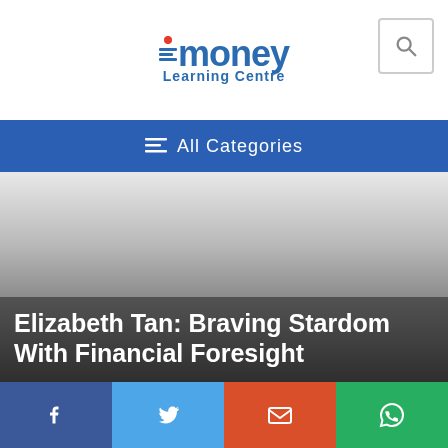iMoney Learning Centre
≡ All Categories
[Figure (photo): Hero background image with gradient from light grey to dark grey, representing a portrait or scene related to Elizabeth Tan]
Elizabeth Tan: Braving Stardom With Financial Foresight
[Figure (infographic): Social sharing bar with Facebook, Twitter, Email, and WhatsApp buttons]